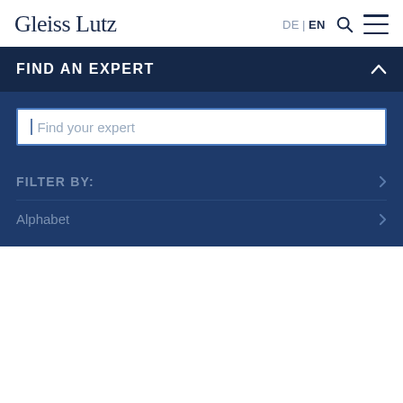Gleiss Lutz
FIND AN EXPERT
Find your expert
FILTER BY:
Alphabet